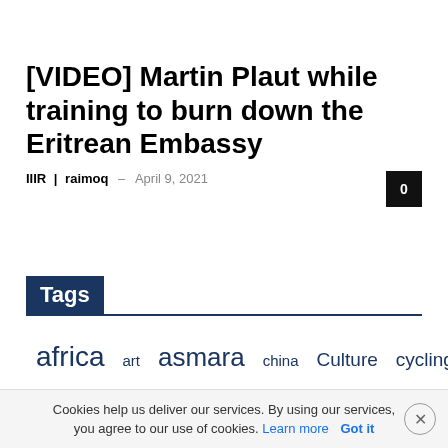[VIDEO] Martin Plaut while training to burn down the Eritrean Embassy
IIIR | raimoq – April 9, 2021
Tags
africa
art
asmara
china
Culture
cycling
development
education
egypt
Entertainment
EPLF
eritrea
Cookies help us deliver our services. By using our services, you agree to our use of cookies. Learn more  Got it